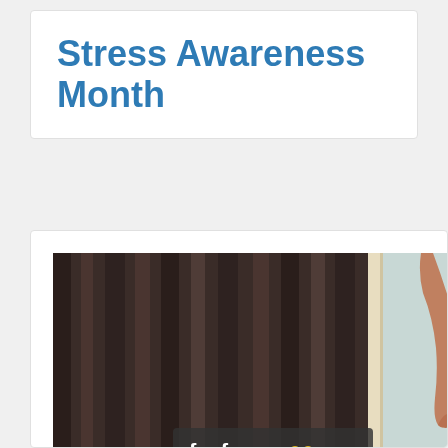Stress Awareness Month
[Figure (photo): A person reaching towards a window with heavy dark curtains on the left side and a bright light background on the right, with a Feefo Reviews badge overlay at the bottom.]